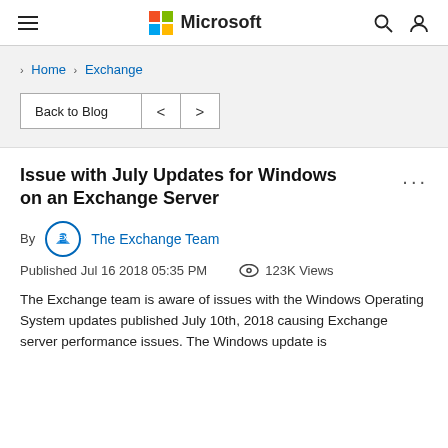Microsoft navigation bar with hamburger menu, Microsoft logo, search and profile icons
Home › Exchange
Back to Blog  <  >
Issue with July Updates for Windows on an Exchange Server
By The Exchange Team
Published Jul 16 2018 05:35 PM   👁 123K Views
The Exchange team is aware of issues with the Windows Operating System updates published July 10th, 2018 causing Exchange server performance issues. The Windows update is